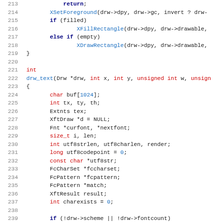[Figure (screenshot): Source code listing in C, lines 213-244, showing functions drw_rect and drw_text with syntax highlighting. Keywords in dark blue bold, function names in blue, type keywords in red, numbers in blue.]